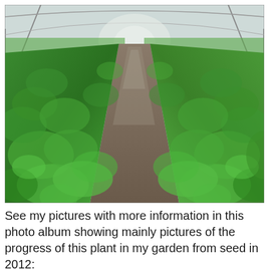[Figure (photo): Photograph taken inside a greenhouse or polytunnel showing rows of dense green leafy plants (likely strawberries or similar) with a muddy path running between two rows, receding to the far end of the tunnel. The structure's curved metal frame and translucent covering are visible in the background.]
See my pictures with more information in this photo album showing mainly pictures of the progress of this plant in my garden from seed in 2012:
http://www.edimentals.com/pictures/index.php?/category/96